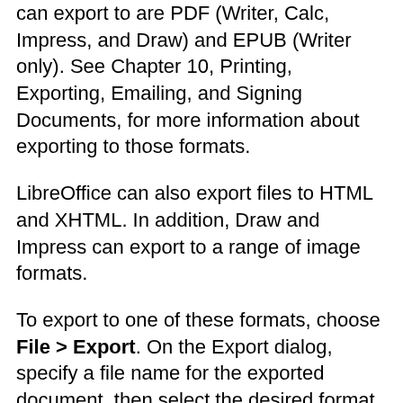can export to are PDF (Writer, Calc, Impress, and Draw) and EPUB (Writer only). See Chapter 10, Printing, Exporting, Emailing, and Signing Documents, for more information about exporting to those formats.
LibreOffice can also export files to HTML and XHTML. In addition, Draw and Impress can export to a range of image formats.
To export to one of these formats, choose File > Export. On the Export dialog, specify a file name for the exported document, then select the desired format in the file format list and click the Export or Save button as appropriate.